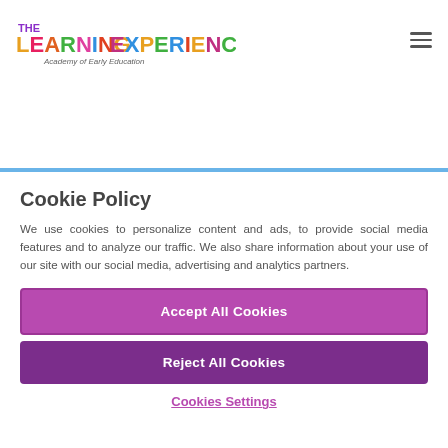[Figure (logo): The Learning Experience Academy of Early Education logo with colorful block letters]
Cookie Policy
We use cookies to personalize content and ads, to provide social media features and to analyze our traffic. We also share information about your use of our site with our social media, advertising and analytics partners.
Accept All Cookies
Reject All Cookies
Cookies Settings